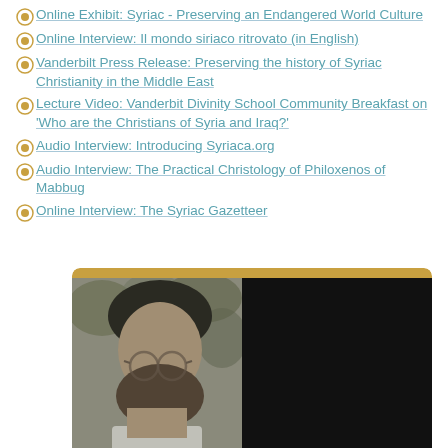Online Exhibit: Syriac - Preserving an Endangered World Culture
Online Interview: Il mondo siriaco ritrovato (in English)
Vanderbilt Press Release: Preserving the history of Syriac Christianity in the Middle East
Lecture Video: Vanderbit Divinity School Community Breakfast on 'Who are the Christians of Syria and Iraq?'
Audio Interview: Introducing Syriaca.org
Audio Interview: The Practical Christology of Philoxenos of Mabbug
Online Interview: The Syriac Gazetteer
[Figure (photo): A black and white photograph of a bearded man with glasses, shown from the side/front, with dark background on the right portion of the image. The image is set in a media player-style box with a gold/amber header bar.]